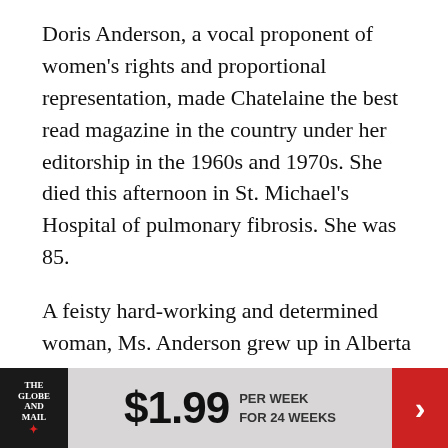Doris Anderson, a vocal proponent of women's rights and proportional representation, made Chatelaine the best read magazine in the country under her editorship in the 1960s and 1970s. She died this afternoon in St. Michael's Hospital of pulmonary fibrosis. She was 85.
A feisty hard-working and determined woman, Ms. Anderson grew up in Alberta in a boarding house run by her single mother during the Depression. Although she made her own success in the man's world of magazine publishing in the 1950s and 1960s, she was always a champion of women's rights and a promoter of gender equality in public office. As the enormously successful editor of
[Figure (infographic): Advertisement banner for The Globe and Mail newspaper subscription offer: $1.99 per week for 24 weeks, with The Globe and Mail logo on the left and a red arrow on the right.]